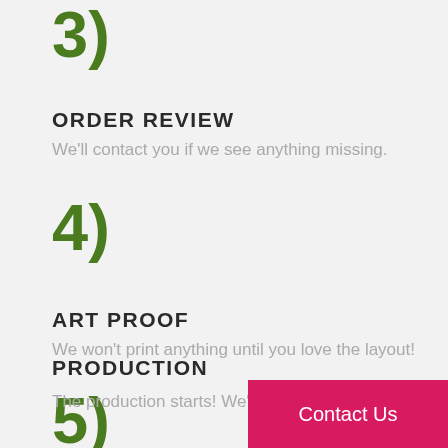3)
ORDER REVIEW
We'll contact you if we see anything missing.
4)
ART PROOF
We won't print anything until you love the layout!
5)
PRODUCTION
The production starts! We'll confirm the
Contact Us